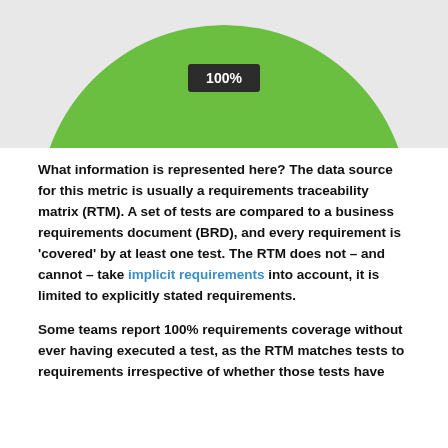[Figure (pie-chart): Requirements Coverage]
What information is represented here? The data source for this metric is usually a requirements traceability matrix (RTM). A set of tests are compared to a business requirements document (BRD), and every requirement is 'covered' by at least one test. The RTM does not – and cannot – take implicit requirements into account, it is limited to explicitly stated requirements.
Some teams report 100% requirements coverage without ever having executed a test, as the RTM matches tests to requirements irrespective of whether those tests have